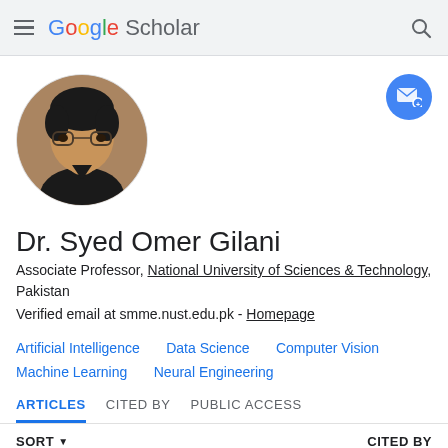Google Scholar
[Figure (photo): Circular profile photo of Dr. Syed Omer Gilani, a man with glasses and dark hair wearing a black shirt]
Dr. Syed Omer Gilani
Associate Professor, National University of Sciences & Technology, Pakistan
Verified email at smme.nust.edu.pk - Homepage
Artificial Intelligence
Data Science
Computer Vision
Machine Learning
Neural Engineering
ARTICLES   CITED BY   PUBLIC ACCESS
SORT ▼   CITED BY